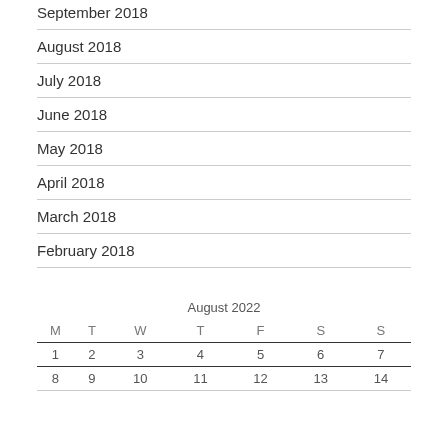September 2018
August 2018
July 2018
June 2018
May 2018
April 2018
March 2018
February 2018
| M | T | W | T | F | S | S |
| --- | --- | --- | --- | --- | --- | --- |
| 1 | 2 | 3 | 4 | 5 | 6 | 7 |
| 8 | 9 | 10 | 11 | 12 | 13 | 14 |